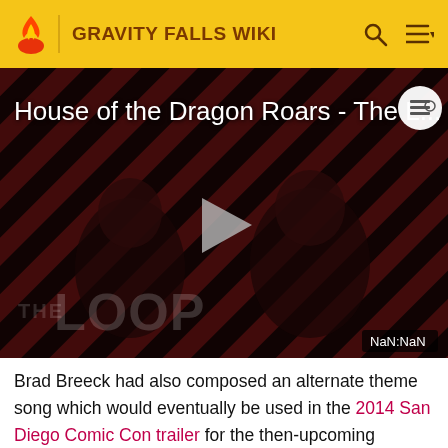GRAVITY FALLS WIKI
[Figure (screenshot): Video thumbnail for 'House of the Dragon Roars - The L...' with play button, diagonal red/dark stripe background, two people in silhouette, THE LOOP watermark, and NaN:NaN timestamp badge]
Brad Breeck had also composed an alternate theme song which would eventually be used in the 2014 San Diego Comic Con trailer for the then-upcoming season. In the Gravity Falls box set released in 2018, Brad played a snippet of a never before heard alternate theme song